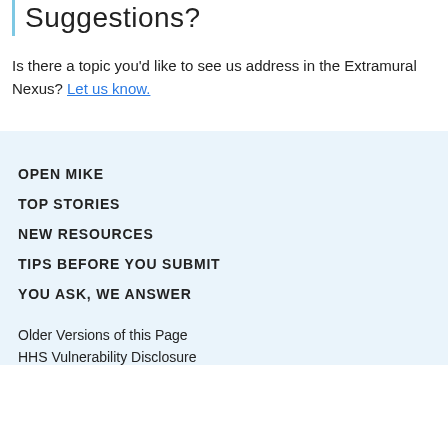Suggestions?
Is there a topic you'd like to see us address in the Extramural Nexus? Let us know.
OPEN MIKE
TOP STORIES
NEW RESOURCES
TIPS BEFORE YOU SUBMIT
YOU ASK, WE ANSWER
Older Versions of this Page
HHS Vulnerability Disclosure